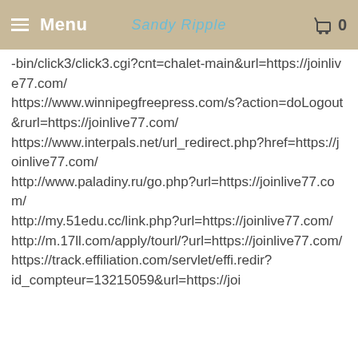Menu | Sandy Ripple | 0
-bin/click3/click3.cgi?cnt=chalet-main&url=https://joinlive77.com/ https://www.winnipegfreepress.com/s?action=doLogout&rurl=https://joinlive77.com/ https://www.interpals.net/url_redirect.php?href=https://joinlive77.com/ http://www.paladiny.ru/go.php?url=https://joinlive77.com/ http://my.51edu.cc/link.php?url=https://joinlive77.com/ http://m.17ll.com/apply/tourl/?url=https://joinlive77.com/ https://track.effiliation.com/servlet/effi.redir? id_compteur=13215059&url=https://joi